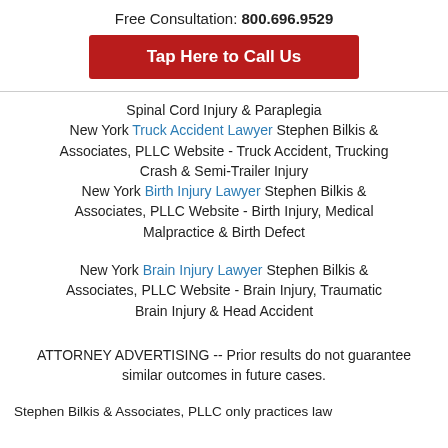Free Consultation: 800.696.9529
Tap Here to Call Us
Spinal Cord Injury & Paraplegia
New York Truck Accident Lawyer Stephen Bilkis & Associates, PLLC Website - Truck Accident, Trucking Crash & Semi-Trailer Injury
New York Birth Injury Lawyer Stephen Bilkis & Associates, PLLC Website - Birth Injury, Medical Malpractice & Birth Defect
New York Brain Injury Lawyer Stephen Bilkis & Associates, PLLC Website - Brain Injury, Traumatic Brain Injury & Head Accident
ATTORNEY ADVERTISING -- Prior results do not guarantee similar outcomes in future cases.
Stephen Bilkis & Associates, PLLC only practices law